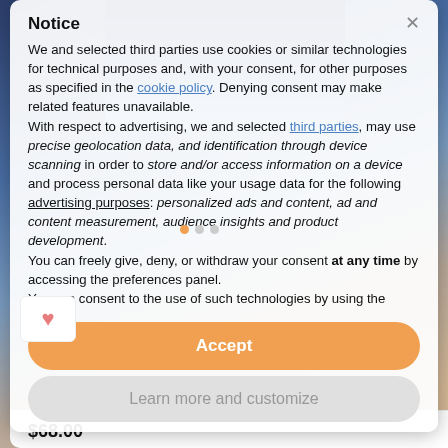[Figure (screenshot): Background showing city skyline at night with cafe/restaurant terrace scene blurred behind modal dialog]
Notice
We and selected third parties use cookies or similar technologies for technical purposes and, with your consent, for other purposes as specified in the cookie policy. Denying consent may make related features unavailable.
With respect to advertising, we and selected third parties, may use precise geolocation data, and identification through device scanning in order to store and/or access information on a device and process personal data like your usage data for the following advertising purposes: personalized ads and content, ad and content measurement, audience insights and product development.
You can freely give, deny, or withdraw your consent at any time by accessing the preferences panel.
You can consent to the use of such technologies by using the
Accept
Learn more and customize
$68.00